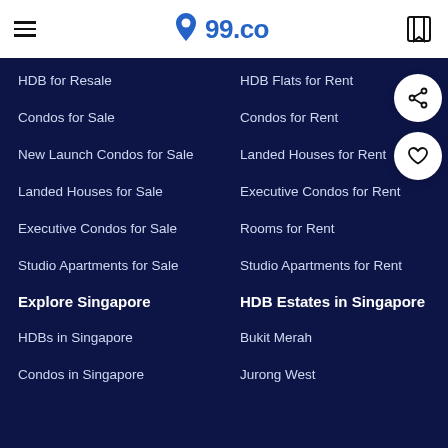99.co
HDB for Resale
HDB Flats for Rent
Condos for Sale
Condos for Rent
New Launch Condos for Sale
Landed Houses for Rent
Landed Houses for Sale
Executive Condos for Rent
Executive Condos for Sale
Rooms for Rent
Studio Apartments for Sale
Studio Apartments for Rent
Explore Singapore
HDB Estates in Singapore
HDBs in Singapore
Bukit Merah
Condos in Singapore
Jurong West